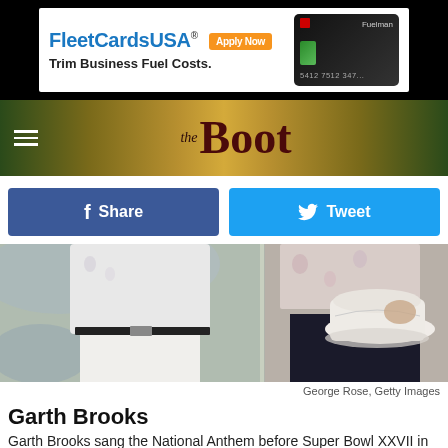[Figure (other): FleetCardsUSA advertisement banner — 'Trim Business Fuel Costs.' with Apply Now button and Fuelman credit card image]
[Figure (logo): The Boot website logo on decorative banner with hamburger menu]
[Figure (other): Facebook Share button (dark blue) and Twitter Tweet button (light blue)]
[Figure (photo): Two-panel photo of Garth Brooks: left panel shows torso in white outfit with belt, right panel shows person holding white cowboy hat]
George Rose, Getty Images
Garth Brooks
Garth Brooks sang the National Anthem before Super Bowl XXVII in 1993. His performance was not without controversy, however!